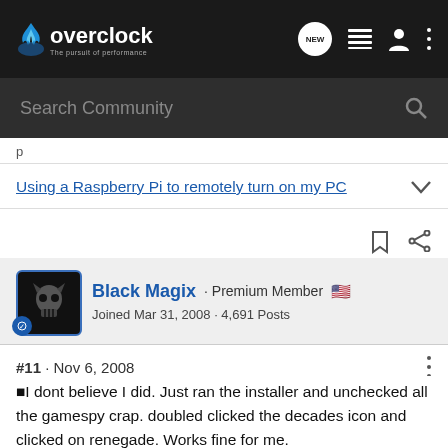overclock.net - The pursuit of performance
Search Community
Using a Raspberry Pi to remotely turn on my PC
Black Magix · Premium Member
Joined Mar 31, 2008 · 4,691 Posts
#11 · Nov 6, 2008
□I dont believe I did. Just ran the installer and unchecked all the gamespy crap. doubled clicked the decades icon and clicked on renegade. Works fine for me.